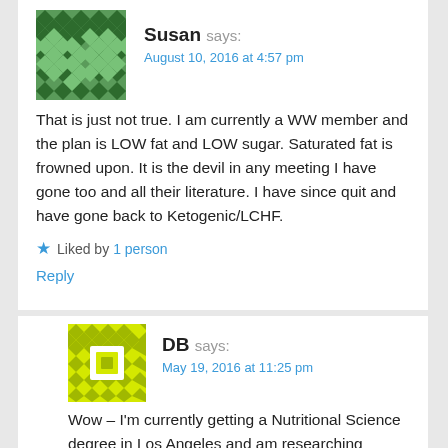[Figure (illustration): Green diamond pattern avatar for user Susan]
Susan says:
August 10, 2016 at 4:57 pm
That is just not true. I am currently a WW member and the plan is LOW fat and LOW sugar. Saturated fat is frowned upon. It is the devil in any meeting I have gone too and all their literature. I have since quit and have gone back to Ketogenic/LCHF.
Liked by 1 person
Reply
[Figure (illustration): Yellow geometric pattern avatar for user DB]
DB says:
May 19, 2016 at 11:25 pm
Wow – I'm currently getting a Nutritional Science degree in Los Angeles and am researching Weight Watchers – major inspiration – thank you, many blessings.